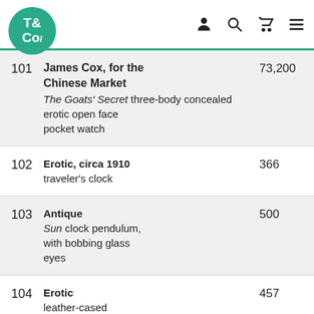T&Co logo with navigation icons
| Lot | Description | Price |
| --- | --- | --- |
| 101 | James Cox, for the Chinese Market
The Goats' Secret three-body concealed erotic open face pocket watch | 73,200 |
| 102 | Erotic, circa 1910
traveler's clock | 366 |
| 103 | Antique
Sun clock pendulum, with bobbing glass eyes | 500 |
| 104 | Erotic
leather-cased | 457 |